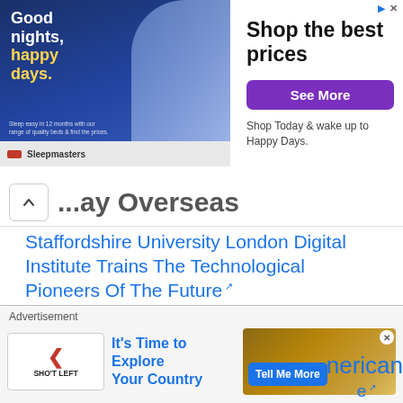[Figure (other): Advertisement banner for Sleepmasters featuring 'Good nights, happy days' text and a person on a bed. Shows 'Shop the best prices', 'See More' purple button, and tagline 'Shop Today & wake up to Happy Days.']
...ay Overseas
Staffordshire University London Digital Institute Trains The Technological Pioneers Of The Future
Northumbria University London Offers An Inspirational Learning Experience
University of Strathclyde, Glasgow Offers An Outstanding Environment For Learning And Research
Buckinghamshire New University Has Courses Designed To Give You A Great Grounding For
Advertisement
[Figure (other): Advertisement for Shot Left featuring 'It's Time to Explore Your Country' with Tell Me More button and partial American text visible on right side.]